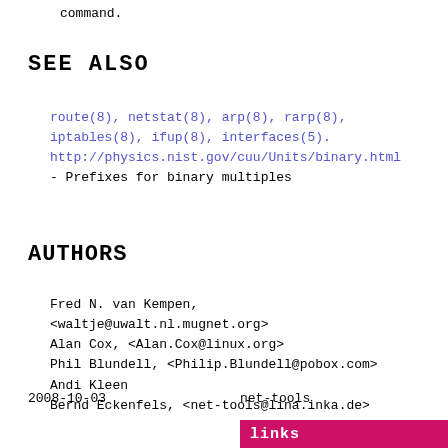command.
SEE  ALSO
route(8), netstat(8), arp(8), rarp(8),
iptables(8), ifup(8), interfaces(5).
http://physics.nist.gov/cuu/Units/binary.html
- Prefixes for binary multiples
AUTHORS
Fred N. van Kempen,
<waltje@uwalt.nl.mugnet.org>
Alan Cox, <Alan.Cox@linux.org>
Phil Blundell, <Philip.Blundell@pobox.com>
Andi Kleen
Bernd Eckenfels, <net-tools@lina.inka.de>
2008-10-03                    net-tools
links